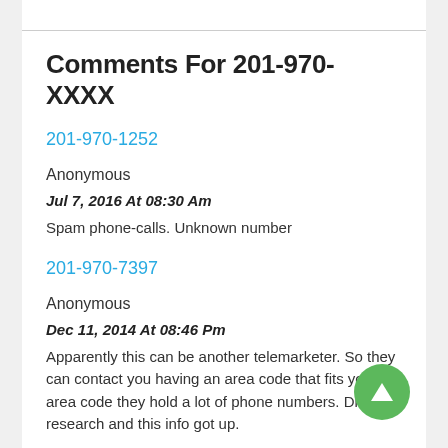Comments For 201-970-XXXX
201-970-1252
Anonymous
Jul 7, 2016 At 08:30 Am
Spam phone-calls. Unknown number
201-970-7397
Anonymous
Dec 11, 2014 At 08:46 Pm
Apparently this can be another telemarketer. So they can contact you having an area code that fits your area code they hold a lot of phone numbers. Did a research and this info got up.
201-970-2445
Anonymous